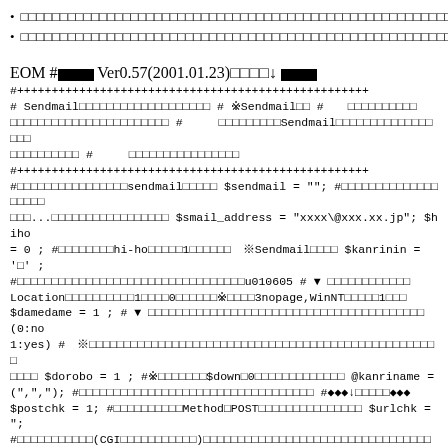□□□□□□□□□□□□□□□□□□□□□□□□□□□□□□□□□□□□□□□□□□□□□□□□□□□□□□□□□□□□□□□□□□□□□□□□□□□□
□□□□□□□□□□□□□□□□□□□□□□□□□□□□□□□□□□□□□□□□□□□□□□□□□□\□\□□□
EOM #■■■ Ver0.57(2001.01.23)□□□□↓ ■■■
#+++++++++++++++++++++++++++++++++++++++++++++++++
# Sendmail□□□□□□□□□□□□□□□□□□□ # ※Sendmail□□ # □□□□□□□□□□□□□□□□□□□□□□□□□□□□□□□□□□ # □□□□□□□□□Sendmail□□□□□□□□□□□□□□□□□□□□□□□□□□□□□□□□ # □□□□□□□□□□□□□□□
#++++++++++++++++++++++++++++++++++++++++++++++++++
#□□□□□□□□□□□□□□□□□sendmail□□□□□ $sendmail = ""; #□□□□□□□□□□□□□□□□□□□□□...□□□□□□□□□□□□□□□□□ $smail_address = "xxxx\@xxx.xx.jp"; $hiho = 0 ; #□□□□□□□□hi-ho□□□□□1□□□□□□□□ ※Sendmail□□□□ $kanrinin = '□' ; #□□□□□□□□□□□□□□□□□□□□□□□□□□□□□□u010605 # ▼ □□□□□□□□□□□□Location□□□□□□□□□□□1□□□□0□□□□□□※□□□□□3nopage,WinNT□□□□□1□□□ $damedame = 1 ; #▼ □□□□□□□□□□□□□□□□□□□□□□□□□□□□□□□□□□□□□□□□□(0:no 1:yes) # ※□□□□□□□□□□□□□□□□□□□□□□□□□□□□□□□□□□□□□□□□□□□□□□□□□□□ $dorobo = 1 ; #※□□□□□□□$down□0□□□□□□□□□□□□□ @kanriname = (",","); #□□□□□□□□□□□□□□□□□□□□□□□□□□□□□□□□□□ #◆◆◆↓□□□□□◆◆◆ $postchk = 1; #□□□□□□□□□□□Method□POST□□□□□□□□□□□□□□ $urlchk = "; #□□□□□□□□□□□(CGI□□□□□□□□□□□)□□□□□□□□□□□□□□□□□□□□□□□□□□□" #◆◆◆↑□□□□□□◆◆◆ #□□□□□□□□□□□□□□□□□□□□□□□□"EOM"□□□□□□□□EOM□□□□□□□□□□□□ $scrollbar = <<"EOM"; BODY{ scrollbar-base-color : #ffffff; }
EOM #↓↓↓ □□□□□□□□□□□□□□□□□□ ◎output□ft□bl□l□t□lf□□□bl□